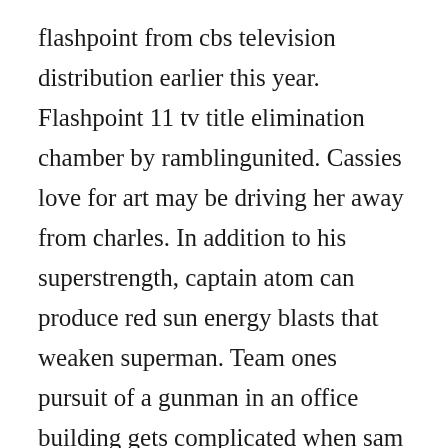flashpoint from cbs television distribution earlier this year. Flashpoint 11 tv title elimination chamber by ramblingunited. Cassies love for art may be driving her away from charles. In addition to his superstrength, captain atom can produce red sun energy blasts that weaken superman. Team ones pursuit of a gunman in an office building gets complicated when sam is abducted. Barry allen is in cc jitters, muttering to himself that today is the day he talks to her. With hugh dillon, amy jo johnson, david paetkau, sergio di ri... I d 193. 3005 flashpoint in the at the...